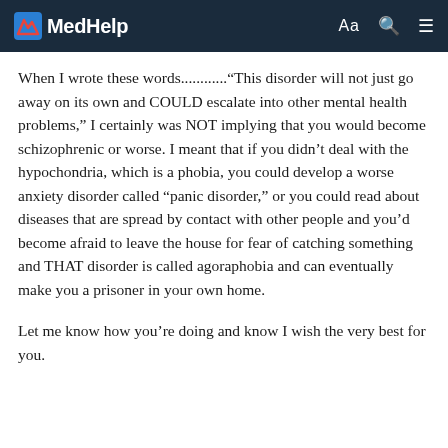MedHelp
When I wrote these words............"This disorder will not just go away on its own and COULD escalate into other mental health problems," I certainly was NOT implying that you would become schizophrenic or worse. I meant that if you didn't deal with the hypochondria, which is a phobia, you could develop a worse anxiety disorder called "panic disorder," or you could read about diseases that are spread by contact with other people and you'd become afraid to leave the house for fear of catching something and THAT disorder is called agoraphobia and can eventually make you a prisoner in your own home.
Let me know how you're doing and know I wish the very best for you.